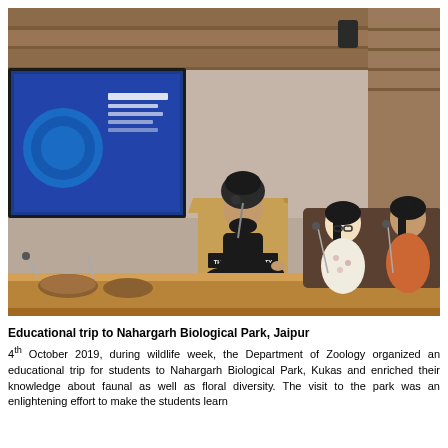[Figure (photo): A man in a black vest and turban speaking at a podium labeled 'THE IIS UNIVERSITY' in a conference room. A presentation screen is visible on the left. Two women are seated at a table on the right side.]
Educational trip to Nahargarh Biological Park, Jaipur
4th October 2019, during wildlife week, the Department of Zoology organized an educational trip for students to Nahargarh Biological Park, Kukas and enriched their knowledge about faunal as well as floral diversity. The visit to the park was an enlightening effort to make the students learn